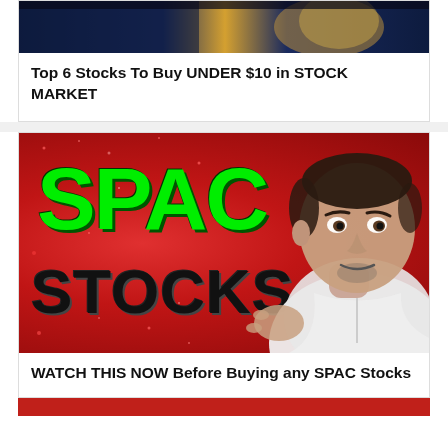[Figure (photo): Top portion of a video thumbnail showing a stock market scene with dark blue and golden tones]
Top 6 Stocks To Buy UNDER $10 in STOCK MARKET
[Figure (photo): Video thumbnail with red glitter background, large green text SPAC and black text STOCKS, with a man in white hoodie on the right side gesturing with his hands]
WATCH THIS NOW Before Buying any SPAC Stocks